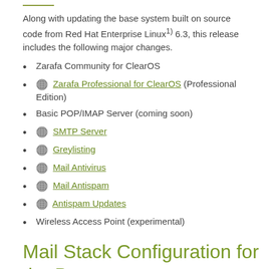Along with updating the base system built on source code from Red Hat Enterprise Linux 6.3, this release includes the following major changes.
Zarafa Community for ClearOS
Zarafa Professional for ClearOS (Professional Edition)
Basic POP/IMAP Server (coming soon)
SMTP Server
Greylisting
Mail Antivirus
Mail Antispam
Antispam Updates
Wireless Access Point (experimental)
Mail Stack Configuration for the Beta
The base mail domain is used by a number of apps: SMTP Server, IMAP, Mail Filter, etc. Each app saves this information in its own configuration file, but we really only